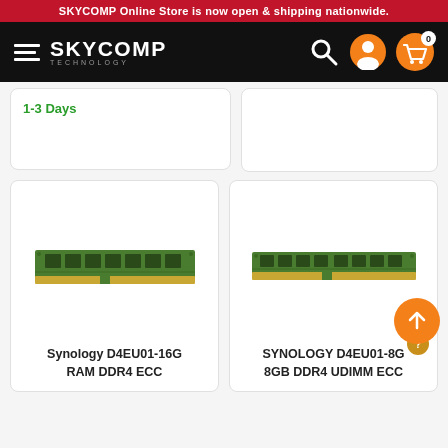SKYCOMP Online Store is now open & shipping nationwide.
[Figure (logo): SKYCOMP TECHNOLOGY logo with hamburger menu lines on black navigation bar with search, account, and cart icons]
1-3 Days
[Figure (photo): Synology D4EU01-16G RAM DDR4 ECC memory module — green PCB with chips]
Synology D4EU01-16G RAM DDR4 ECC
[Figure (photo): SYNOLOGY D4EU01-8G 8GB DDR4 UDIMM ECC memory module — green PCB with chips]
SYNOLOGY D4EU01-8G 8GB DDR4 UDIMM ECC